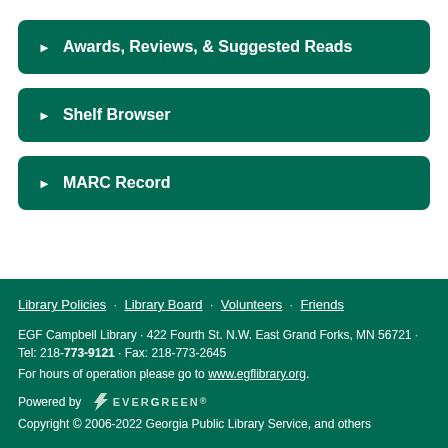► Awards, Reviews, & Suggested Reads
► Shelf Browser
► MARC Record
Library Policies · Library Board · Volunteers · Friends
EGF Campbell Library · 422 Fourth St. N.W. East Grand Forks, MN 56721 · Tel: 218-773-9121 · Fax: 218-773-2645
For hours of operation please go to www.egflibrary.org.
Powered by EVERGREEN
Copyright © 2006-2022 Georgia Public Library Service, and others